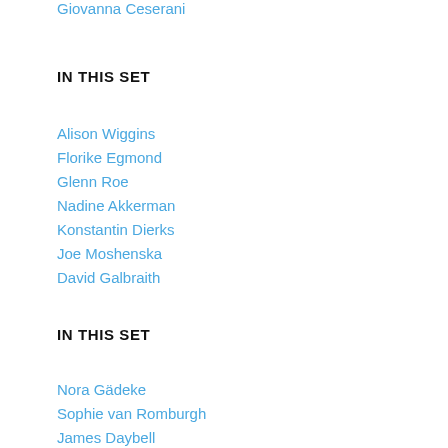Giovanna Ceserani
IN THIS SET
Alison Wiggins
Florike Egmond
Glenn Roe
Nadine Akkerman
Konstantin Dierks
Joe Moshenska
David Galbraith
IN THIS SET
Nora Gädeke
Sophie van Romburgh
James Daybell
Leigh Penman
John Smith